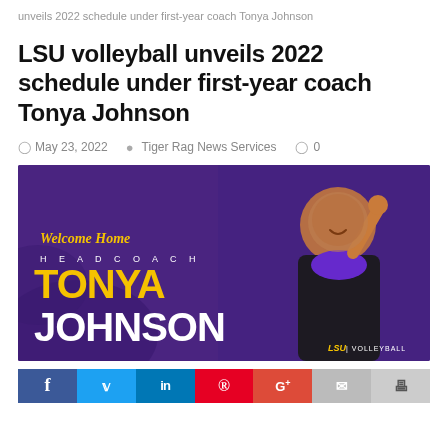unveils 2022 schedule under first-year coach Tonya Johnson
LSU volleyball unveils 2022 schedule under first-year coach Tonya Johnson
May 23, 2022  Tiger Rag News Services  0
[Figure (photo): LSU Volleyball promotional banner reading 'Welcome Home Head Coach Tonya Johnson' with LSU Volleyball branding, featuring a photo of Tonya Johnson in a black blazer making an 'L' hand sign on a purple background]
[Figure (infographic): Social media sharing bar with icons for Facebook, Twitter, LinkedIn, Pinterest, Google+, Email, and Print]